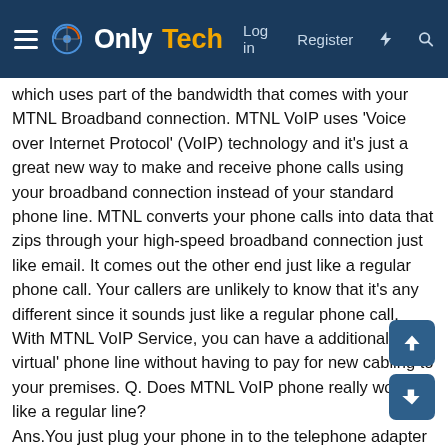OnlyTech — Log in | Register
which uses part of the bandwidth that comes with your MTNL Broadband connection. MTNL VoIP uses 'Voice over Internet Protocol' (VoIP) technology and it's just a great new way to make and receive phone calls using your broadband connection instead of your standard phone line. MTNL converts your phone calls into data that zips through your high-speed broadband connection just like email. It comes out the other end just like a regular phone call. Your callers are unlikely to know that it's any different since it sounds just like a regular phone call. With MTNL VoIP Service, you can have a additional ' virtual' phone line without having to pay for new cabling to your premises. Q. Does MTNL VoIP phone really work like a regular line? Ans.You just plug your phone in to the telephone adapter and make your calls as usual (VoIP to International PSTN/Mobile and MTNL VoIP to MTNL VoIP). The voice needs to use a telephone